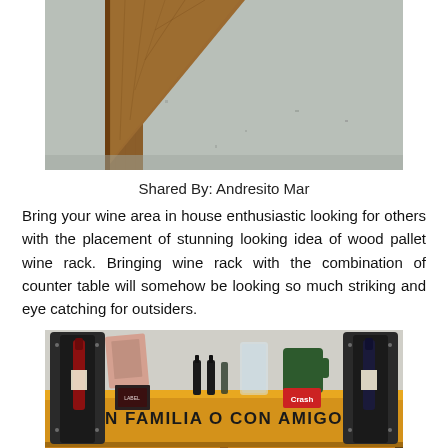[Figure (photo): Top portion of a wood pallet wine rack on a concrete floor, showing wooden triangle/corner frame detail]
Shared By: Andresito Mar
Bring your wine area in house enthusiastic looking for others with the placement of stunning looking idea of wood pallet wine rack. Bringing wine rack with the combination of counter table will somehow be looking so much striking and eye catching for outsiders.
[Figure (photo): A wooden wine rack/bar shelf with the text 'EN FAMILIA O CON AMIGOS' painted on a yellow banner. The shelf holds wine bottles, glasses, small liquor bottles, and mugs. Below are wine glass holders with glasses stored upside down.]